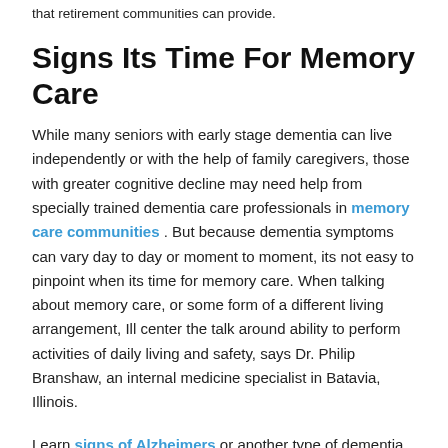that retirement communities can provide.
Signs Its Time For Memory Care
While many seniors with early stage dementia can live independently or with the help of family caregivers, those with greater cognitive decline may need help from specially trained dementia care professionals in memory care communities . But because dementia symptoms can vary day to day or moment to moment, its not easy to pinpoint when its time for memory care. When talking about memory care, or some form of a different living arrangement, Ill center the talk around ability to perform activities of daily living and safety, says Dr. Philip Branshaw, an internal medicine specialist in Batavia, Illinois.
Learn signs of Alzheimers or another type of dementia